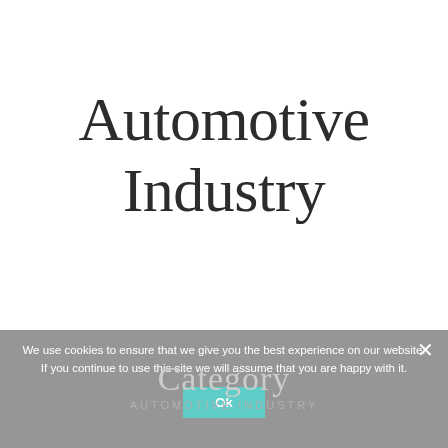Automotive Industry
[Figure (other): Three horizontal divider lines centered on the page]
We use cookies to ensure that we give you the best experience on our website. If you continue to use this site we will assume that you are happy with it.
Category
AUTOMOTIVE INDUSTRY